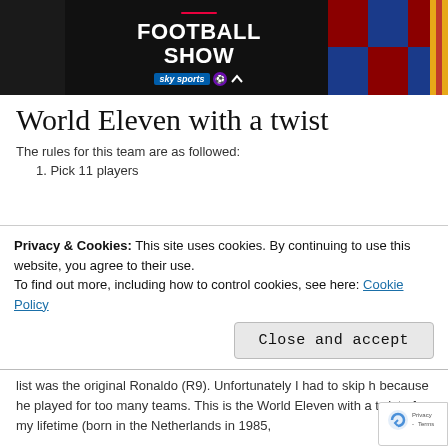[Figure (photo): Sky Sports Football Show banner image with two people visible on left and right sides, white text 'FOOTBALL SHOW' in center, Sky Sports logo with Premier League badge below]
World Eleven with a twist
The rules for this team are as followed:
1. Pick 11 players
Privacy & Cookies: This site uses cookies. By continuing to use this website, you agree to their use.
To find out more, including how to control cookies, see here: Cookie Policy
list was the original Ronaldo (R9). Unfortunately I had to skip h because he played for too many teams. This is the World Eleven with a twist of my lifetime (born in the Netherlands in 1985,